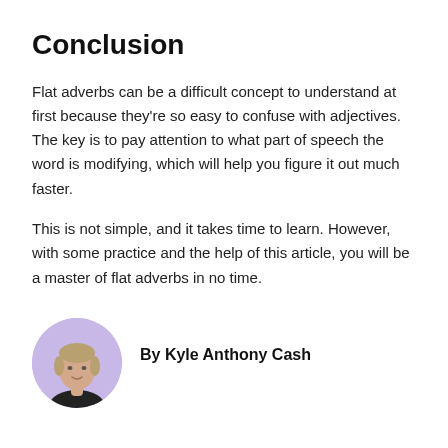Conclusion
Flat adverbs can be a difficult concept to understand at first because they’re so easy to confuse with adjectives. The key is to pay attention to what part of speech the word is modifying, which will help you figure it out much faster.
This is not simple, and it takes time to learn. However, with some practice and the help of this article, you will be a master of flat adverbs in no time.
[Figure (photo): Circular avatar photo of Kyle Anthony Cash, a young man with light skin and short hair, set against a lavender/purple background.]
By Kyle Anthony Cash